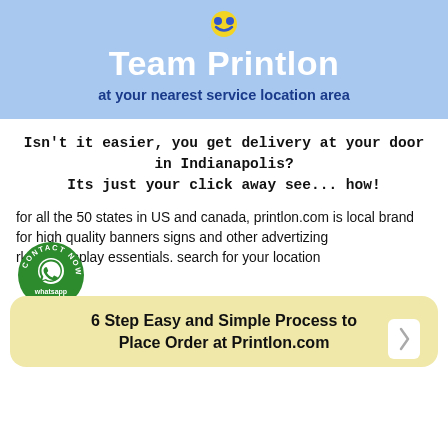[Figure (logo): Printlon logo icon at top of blue header]
Team Printlon
at your nearest service location area
Isn't it easier, you get delivery at your door in Indianapolis?
Its just your click away see... how!
for all the 50 states in US and canada, printlon.com is local brand for high quality banners signs and other advertizing marketing display essentials. search for your location
[Figure (logo): WhatsApp CONTACT NOW! circular green badge]
6 Step Easy and Simple Process to Place Order at Printlon.com